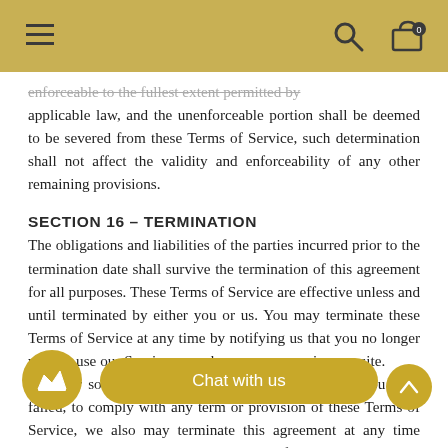Navigation header with hamburger menu, search and cart icons
enforceable to the fullest extent permitted by applicable law, and the unenforceable portion shall be deemed to be severed from these Terms of Service, such determination shall not affect the validity and enforceability of any other remaining provisions.
SECTION 16 - TERMINATION
The obligations and liabilities of the parties incurred prior to the termination date shall survive the termination of this agreement for all purposes. These Terms of Service are effective unless and until terminated by either you or us. You may terminate these Terms of Service at any time by notifying us that you no longer wish to use our Services, or when you cease using our site. If in our sole judgment you fail, or we suspect that you have failed, to comply with any term or provision of these Terms of Service, we also may terminate this agreement at any time without notice and you will remain liable for all amounts due up to and including